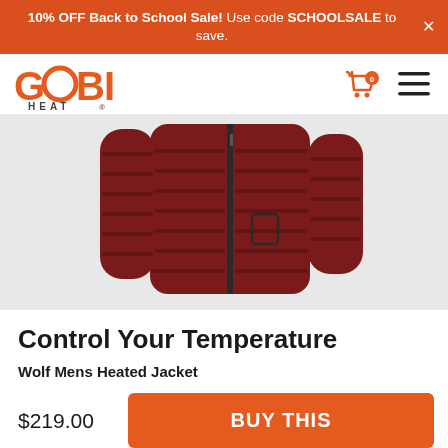10% OFF Back to School Sale! Use code SCHOOLSALE to save.
[Figure (logo): Gobi Heat logo in orange with shopping cart and hamburger menu icons]
[Figure (photo): Dark red/maroon quilted puffer jacket (Wolf Mens Heated Jacket) displayed against a light grey background]
Control Your Temperature
Wolf Mens Heated Jacket
$219.00
BUY THIS